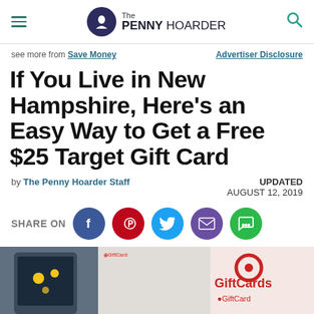The PENNY HOARDER
see more from Save Money    Advertiser Disclosure
If You Live in New Hampshire, Here's an Easy Way to Get a Free $25 Target Gift Card
by The Penny Hoarder Staff    UPDATED AUGUST 12, 2019
SHARE ON
[Figure (photo): Photo of Target gift cards in a store display]